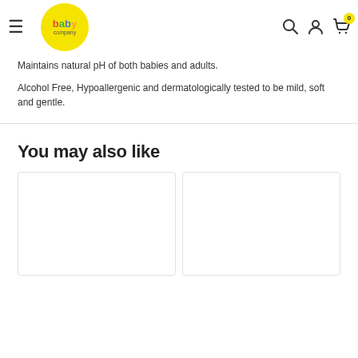baby company
Maintains natural pH of both babies and adults.
Alcohol Free, Hypoallergenic and dermatologically tested to be mild, soft and gentle.
You may also like
[Figure (other): Two product card placeholders in a 'You may also like' section]